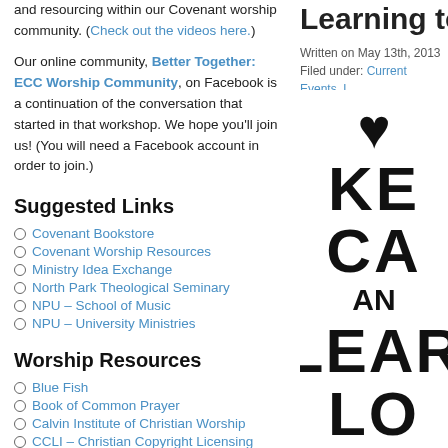and resourcing within our Covenant worship community. (Check out the videos here.)
Our online community, Better Together: ECC Worship Community, on Facebook is a continuation of the conversation that started in that workshop. We hope you'll join us! (You will need a Facebook account in order to join.)
Learning to
Written on May 13th, 2013
Filed under: Current Events, L
Suggested Links
Covenant Bookstore
Covenant Worship Resources
Ministry Idea Exchange
North Park Theological Seminary
NPU – School of Music
NPU – University Ministries
Worship Resources
Blue Fish
Book of Common Prayer
Calvin Institute of Christian Worship
CCLI – Christian Copyright Licensing
[Figure (illustration): Keep Calm style poster with heart icon and large bold text: KE, CA, AN, LEAR, LO]